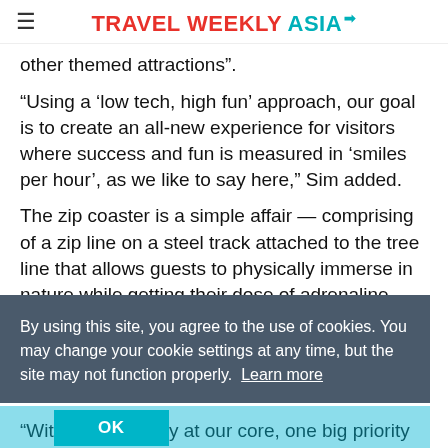TRAVEL WEEKLY ASIA
other themed attractions”.
“Using a ‘low tech, high fun’ approach, our goal is to create an all-new experience for visitors where success and fun is measured in ‘smiles per hour’, as we like to say here,” Sim added.
The zip coaster is a simple affair — comprising of a zip line on a steel track attached to the tree line that allows guests to physically immerse in nature while getting their dose of adrenaline.
By using this site, you agree to the use of cookies. You may change your cookie settings at any time, but the site may not function properly. Learn more
“With sustainability at our core, one big priority for us was not to affect the natural greenery and nature within and around Escape Penang, as part of our commitment to preserve this beautiful natural environment, allowing our visitors to reconnect with